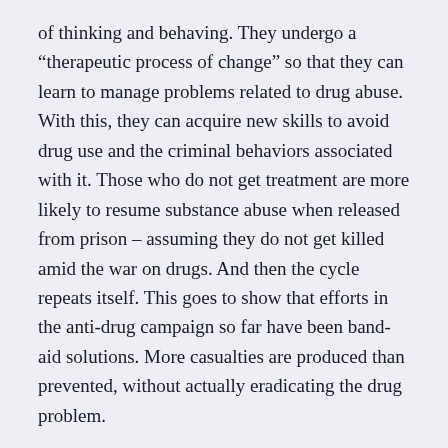of thinking and behaving. They undergo a “therapeutic process of change” so that they can learn to manage problems related to drug abuse. With this, they can acquire new skills to avoid drug use and the criminal behaviors associated with it. Those who do not get treatment are more likely to resume substance abuse when released from prison – assuming they do not get killed amid the war on drugs. And then the cycle repeats itself. This goes to show that efforts in the anti-drug campaign so far have been band-aid solutions. More casualties are produced than prevented, without actually eradicating the drug problem.
Consider how, in one of our psychological interventions at work, we had taught Children of Addicts (COA) the difference between